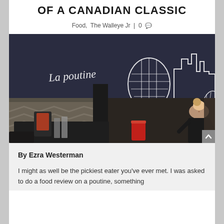OF A CANADIAN CLASSIC
Food, The Walleye Jr | 0
[Figure (photo): Interior of La Poutine restaurant: chalkboard wall with city skyline drawing and cursive 'La poutine' text, booth seating with a young woman sitting and smiling at the camera, black leather booth divider, dark tables]
By Ezra Westerman
I might as well be the pickiest eater you've ever met. I was asked to do a food review on a poutine, something